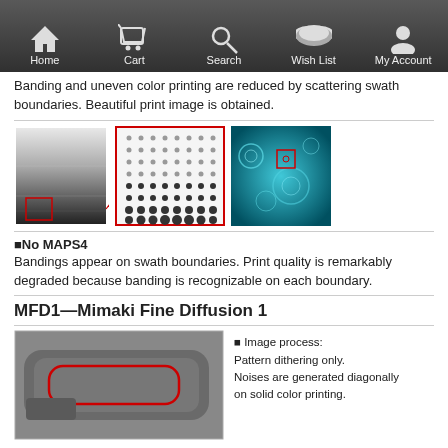Home | Cart | Search | Wish List | My Account
Banding and uneven color printing are reduced by scattering swath boundaries. Beautiful print image is obtained.
[Figure (illustration): Diagram showing print quality comparison with MAPS4: grayscale gradient image on left with red zoom box, magnified dot pattern in center with red border, and teal/blue abstract image on right with small red zoom indicator.]
■No MAPS4
Bandings appear on swath boundaries. Print quality is remarkably degraded because banding is recognizable on each boundary.
MFD1—Mimaki Fine Diffusion 1
[Figure (photo): Photo of a gray rectangular pad/tile with a red rounded rectangle outline on it.]
■ Image process: Pattern dithering only. Noises are generated diagonally on solid color printing.